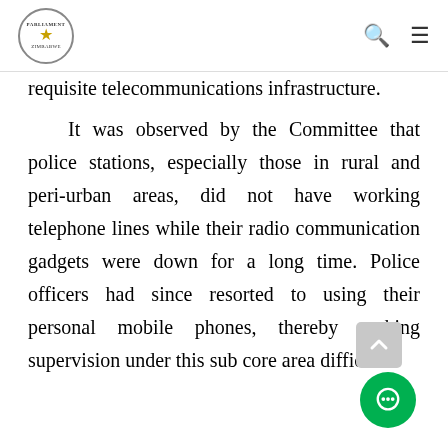Parliament of Zimbabwe
requisite telecommunications infrastructure. It was observed by the Committee that police stations, especially those in rural and peri-urban areas, did not have working telephone lines while their radio communication gadgets were down for a long time. Police officers had since resorted to using their personal mobile phones, thereby making supervision under this sub core area difficult.